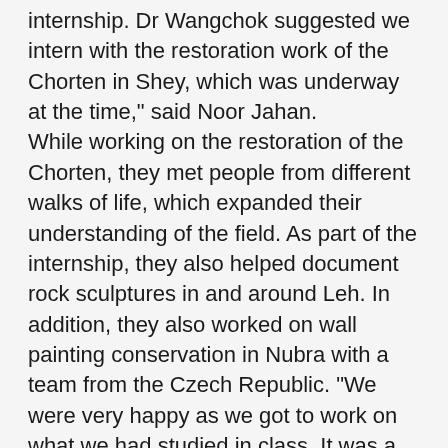internship. Dr Wangchok suggested we intern with the restoration work of the Chorten in Shey, which was underway at the time," said Noor Jahan. While working on the restoration of the Chorten, they met people from different walks of life, which expanded their understanding of the field. As part of the internship, they also helped document rock sculptures in and around Leh. In addition, they also worked on wall painting conservation in Nubra with a team from the Czech Republic. "We were very happy as we got to work on what we had studied in class. It was a very good experience and we learnt many basic aspects of wall painting conservation. The internship with HCHF gave us a lot of experience. We also became aware of the vast scope of art conservation in Ladakh," explained Noor Jahan. After completing their masters, they got in touch with wall painting conservator and a member of the firm, Art Conservation Solution (ACS), Sree Kumar who has been working in Ladakh on wall painting conservation. That year